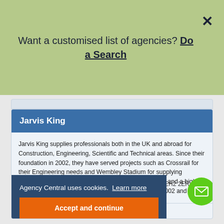Want a customised list of agencies? Do a Search
Jarvis King
Jarvis King supplies professionals both in the UK and abroad for Construction, Engineering, Scientific and Technical areas. Since their foundation in 2002, they have served projects such as Crossrail for their Engineering needs and Wembley Stadium for supplying Construction workers. They also recruit for senior roles and a high-quantity contingent workforce. They were founded in 2002 and have 7 locations in the UK.
Agency Central uses cookies. Learn more
Accept and continue
EH2 2ER
Display number